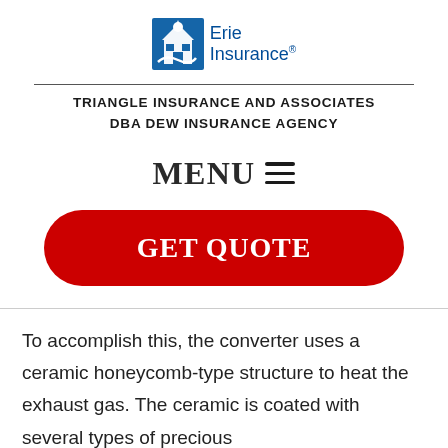[Figure (logo): Erie Insurance logo with blue building icon and text 'Erie Insurance']
TRIANGLE INSURANCE AND ASSOCIATES
DBA DEW INSURANCE AGENCY
MENU ≡
GET QUOTE
To accomplish this, the converter uses a ceramic honeycomb-type structure to heat the exhaust gas. The ceramic is coated with several types of precious